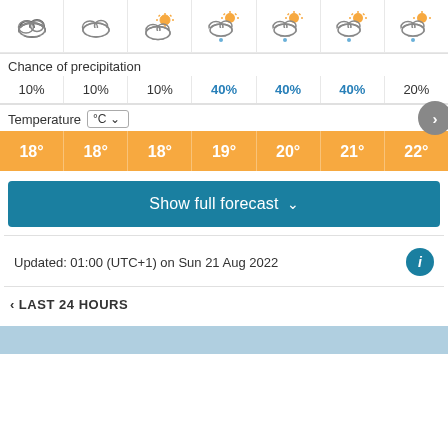[Figure (infographic): Weather icons row: 7 columns showing cloudy/partly sunny weather icons, some with rain drops]
Chance of precipitation
10%  10%  10%  40%  40%  40%  20%
Temperature °C
18°  18°  18°  19°  20°  21°  22°
Show full forecast
Updated: 01:00 (UTC+1) on Sun 21 Aug 2022
< LAST 24 HOURS